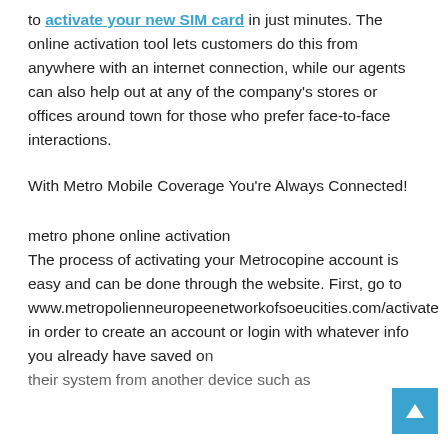to activate your new SIM card in just minutes. The online activation tool lets customers do this from anywhere with an internet connection, while our agents can also help out at any of the company's stores or offices around town for those who prefer face-to-face interactions.
With Metro Mobile Coverage You're Always Connected!
metro phone online activation
The process of activating your Metrocopine account is easy and can be done through the website. First, go to www.metropolienneuropeenetworkofsoeucities.com/activate in order to create an account or login with whatever info you already have saved on their system from another device such as